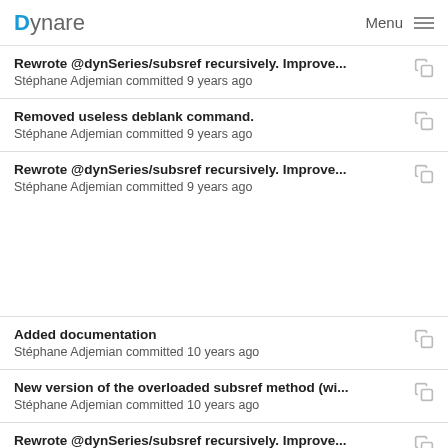Dynare   Menu
Rewrote @dynSeries/subsref recursively. Improve... — Stéphane Adjemian committed 9 years ago
Removed useless deblank command. — Stéphane Adjemian committed 9 years ago
Rewrote @dynSeries/subsref recursively. Improve... — Stéphane Adjemian committed 9 years ago
Added documentation — Stéphane Adjemian committed 10 years ago
New version of the overloaded subsref method (wi... — Stéphane Adjemian committed 10 years ago
Rewrote @dynSeries/subsref recursively. Improve... — Stéphane Adjemian committed 9 years ago